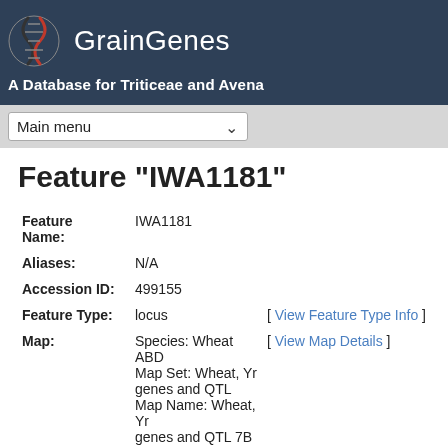GrainGenes — A Database for Triticeae and Avena
Feature "IWA1181"
| Field | Value | Link |
| --- | --- | --- |
| Feature Name: | IWA1181 |  |
| Aliases: | N/A |  |
| Accession ID: | 499155 |  |
| Feature Type: | locus | [ View Feature Type Info ] |
| Map: | Species: Wheat ABD
Map Set: Wheat, Yr genes and QTL
Map Name: Wheat, Yr genes and QTL 7B | [ View Map Details ] |
| Start: | 0 |  |
| Stop: | 0 |  |